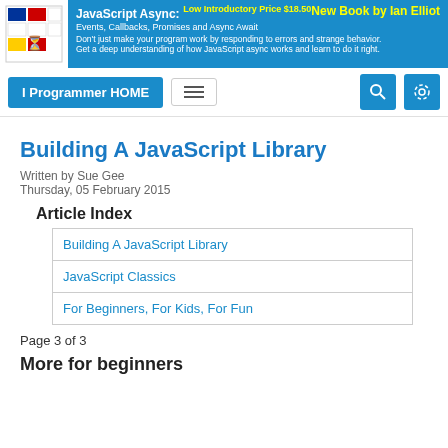[Figure (screenshot): Banner advertisement for JavaScript Async book by Ian Elliot with colorful logo and blue background]
I Programmer HOME
Building A JavaScript Library
Written by Sue Gee
Thursday, 05 February 2015
Article Index
| Building A JavaScript Library |
| JavaScript Classics |
| For Beginners, For Kids, For Fun |
Page 3 of 3
More for beginners